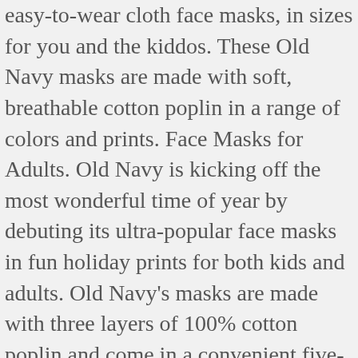easy-to-wear cloth face masks, in sizes for you and the kiddos. These Old Navy masks are made with soft, breathable cotton poplin in a range of colors and prints. Face Masks for Adults. Old Navy is kicking off the most wonderful time of year by debuting its ultra-popular face masks in fun holiday prints for both kids and adults. Old Navy's masks are made with three layers of 100% cotton poplin and come in a convenient five-pack and a variety of prints. If you change your mind return unopened (New) at no cost! This amount is subject to change until you make payment. If you're already breaking out your Christmas tree, hanging your stockings, and scouring gift guides in search of perfect presents, it's safe to say you're in the holiday spirit — and Old Navy is, too! Old Navy Variety 5-Pack of Triple-Layer Cloth Pleated Face Masks for Adults in Oh, What Fun, $12.50; oldnavy.com, Buy It! Washable, reusable cloth face masks for adults & kids. View cart for details. As a result of the sustainable effort, Old Navy will only offer "surprise" packs — so colors and patterns will vary. They're made with three layers of 100% cotton poplin, and are designed according to the CDC recommendations.